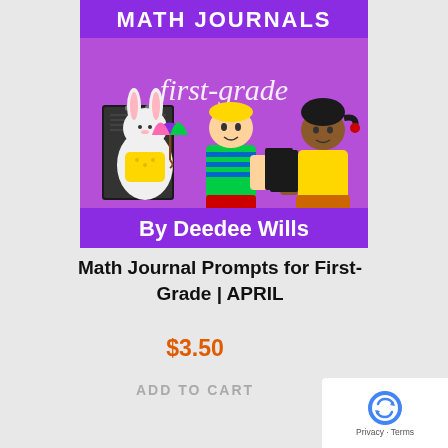[Figure (illustration): Product cover image for Math Journals First Grade April by Deedee Wills. Purple background with 'MATH JOURNALS' text at top, cursive 'first-grade' text, clip art of a white bunny with umbrella next to a composition notebook, two cartoon children holding notebooks, and 'By Deedee Wills' banner at bottom.]
Math Journal Prompts for First-Grade | APRIL
$3.50
ADD TO CART